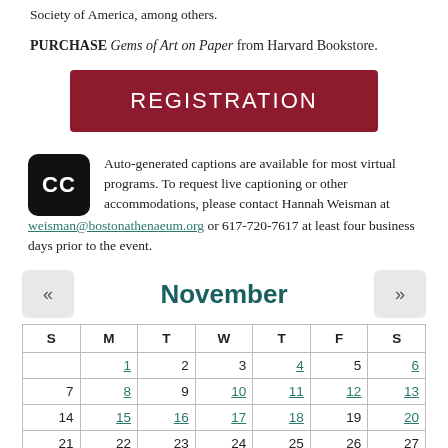Society of America, among others.
PURCHASE Gems of Art on Paper from Harvard Bookstore.
[Figure (other): Dark red registration button with white text reading REGISTRATION]
Auto-generated captions are available for most virtual programs. To request live captioning or other accommodations, please contact Hannah Weisman at weisman@bostonathenaeum.org or 617-720-7617 at least four business days prior to the event.
November
| S | M | T | W | T | F | S |
| --- | --- | --- | --- | --- | --- | --- |
|  | 1 | 2 | 3 | 4 | 5 | 6 |
| 7 | 8 | 9 | 10 | 11 | 12 | 13 |
| 14 | 15 | 16 | 17 | 18 | 19 | 20 |
| 21 | 22 | 23 | 24 | 25 | 26 | 27 |